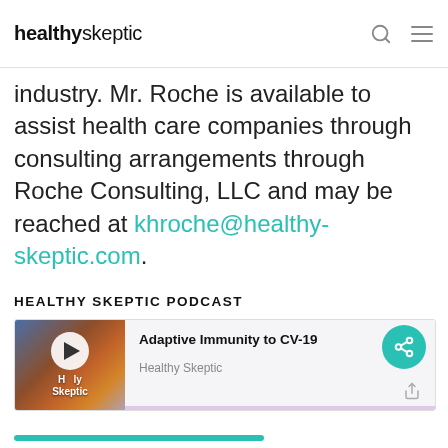healthyskeptic
industry. Mr. Roche is available to assist health care companies through consulting arrangements through Roche Consulting, LLC and may be reached at khroche@healthy-skeptic.com.
HEALTHY SKEPTIC PODCAST
[Figure (other): Podcast widget showing 'Adaptive Immunity to CV-19' episode by Healthy Skeptic with a thumbnail image, play button, and waveform icon]
[Figure (other): Share button (teal circle with share icon) in lower right area]
[Figure (other): Teal bar at the bottom of the page]